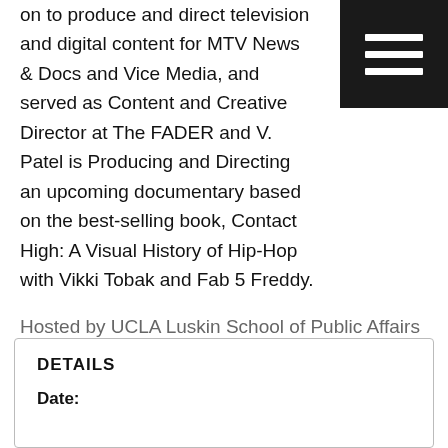on to produce and direct television and digital content for MTV News & Docs and Vice Media, and served as Content and Creative Director at The FADER and V. Patel is Producing and Directing an upcoming documentary based on the best-selling book, Contact High: A Visual History of Hip-Hop with Vikki Tobak and Fab 5 Freddy.
[Figure (other): Navigation menu icon (hamburger menu) — black square with three white horizontal lines]
Hosted by UCLA Luskin School of Public Affairs
Sponsored by:
Departments of Social Welfare, Urban Planning, Public Policy, and Undergraduate Program
D3 Initiative
Social Welfare Department, Diversity, Equity
DETAILS
Date: